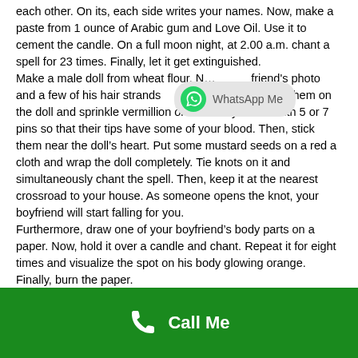each other. On its, each side writes your names. Now, make a paste from 1 ounce of Arabic gum and Love Oil. Use it to cement the candle. On a full moon night, at 2.00 a.m. chant a spell for 23 times. Finally, let it get extinguished.
Make a male doll from wheat flour. N... [friend's photo and a few of his hair strands ...] s cloth. Next, stick them on the doll and sprinkle vermillion on it. Prick yourself with 5 or 7 pins so that their tips have some of your blood. Then, stick them near the doll's heart. Put some mustard seeds on a red a cloth and wrap the doll completely. Tie knots on it and simultaneously chant the spell. Then, keep it at the nearest crossroad to your house. As someone opens the knot, your boyfriend will start falling for you.
Furthermore, draw one of your boyfriend's body parts on a paper. Now, hold it over a candle and chant. Repeat it for eight times and visualize the spot on his body glowing orange. Finally, burn the paper.
[Figure (other): WhatsApp Me button overlay with WhatsApp logo icon and grey rounded rectangle]
Call Me